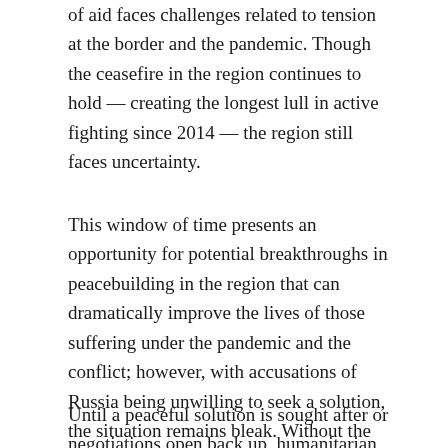of aid faces challenges related to tension at the border and the pandemic. Though the ceasefire in the region continues to hold — creating the longest lull in active fighting since 2014 — the region still faces uncertainty.
This window of time presents an opportunity for potential breakthroughs in peacebuilding in the region that can dramatically improve the lives of those suffering under the pandemic and the conflict; however, with accusations of Russia being unwilling to seek a solution, the situation remains bleak. Without the opening of crossing points and open dialogue along the contact line, the crises facing Eastern Ukraine grow larger each day.
Until a peaceful solution is sought after or negotiations open back up, humanitarian assistance will be unable to make its